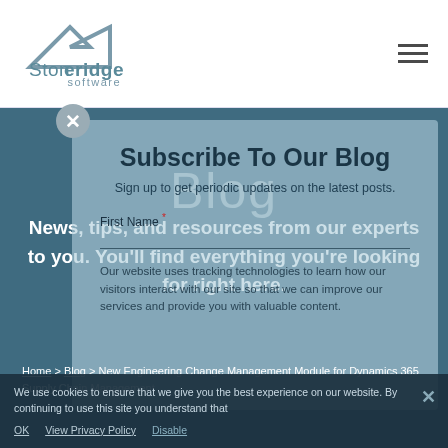[Figure (logo): Stoneridge Software logo — stylized arrow/chevron above company name]
Blog
Subscribe To Our Blog
Sign up to get periodic updates on the latest posts.
News, tips, and resources from our experts to you. You'll find everything you're looking for right here.
First Name *
Our website uses tracking technologies to learn how our visitors interact with our site so that we can improve our services and provide you with valuable content.
We use cookies to ensure that we give you the best experience on our website. By continuing to use this site you understand that
Home > Blog > New Engineering Change Management Module for Dynamics 365 Supply Chain Management
OK   View Privacy Policy   Disable